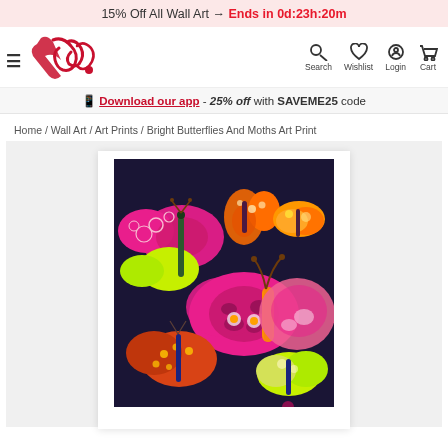15% Off All Wall Art → Ends in 0d:23h:20m
[Figure (logo): Kys brand logo in red cursive script with hamburger menu icon]
Download our app - 25% off with SAVEME25 code
Home / Wall Art / Art Prints / Bright Butterflies And Moths Art Print
[Figure (photo): Bright Butterflies And Moths Art Print product image on dark navy background showing colorful illustrated butterflies and moths in pink, yellow, orange and red]